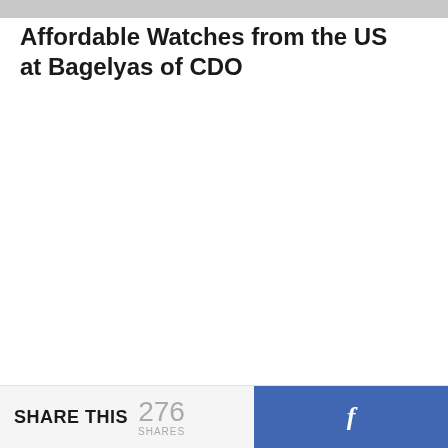Affordable Watches from the US at Bagelyas of CDO
SHARE THIS 276 SHARES [Facebook share button]